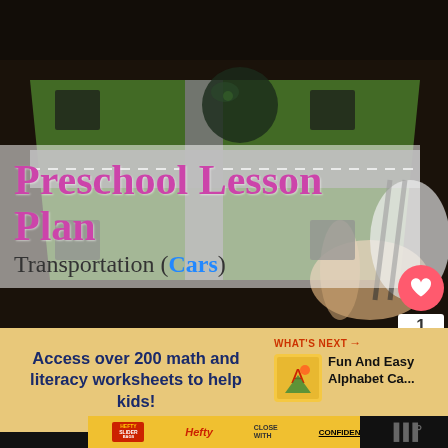[Figure (photo): Child's hands playing with a green road mat toy with cars, dark background, photo with text overlay]
Preschool Lesson Plan
Transportation (Cars)
Access over 200 math and literacy worksheets to help kids!
WHAT'S NEXT → Fun And Easy Alphabet Ca...
[Figure (screenshot): Hefty Slider advertisement banner: 'Hefty CLOSE WITH CONFIDENCE']